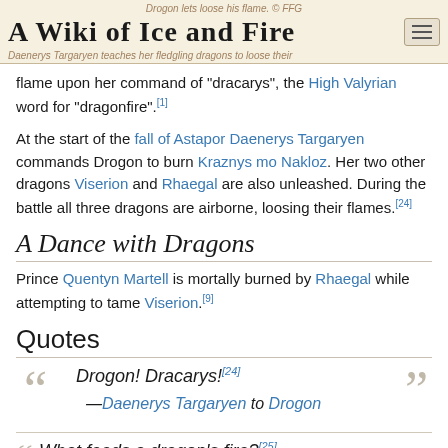Drogon lets loose his flame. © FFG
A Wiki of Ice and Fire
Daenerys Targaryen teaches her fledgling dragons to loose their flame upon her command of "dracarys", the High Valyrian word for "dragonfire".[1]
At the start of the fall of Astapor Daenerys Targaryen commands Drogon to burn Kraznys mo Nakloz. Her two other dragons Viserion and Rhaegal are also unleashed. During the battle all three dragons are airborne, loosing their flames.[24]
A Dance with Dragons
Prince Quentyn Martell is mortally burned by Rhaegal while attempting to tame Viserion.[9]
Quotes
Drogon! Dracarys![24] —Daenerys Targaryen to Drogon
What feeds a dragon's fire?[25]